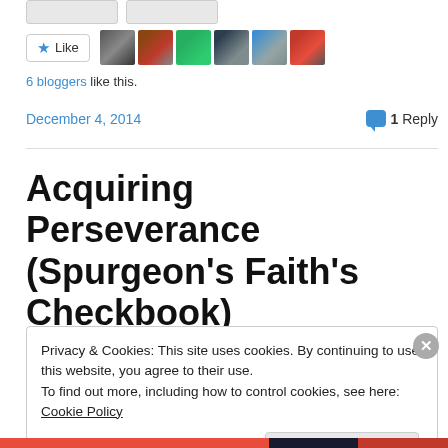[Figure (screenshot): Two grey stub buttons at the top of a webpage]
[Figure (screenshot): Like button with star icon followed by six blogger avatar thumbnails]
6 bloggers like this.
December 4, 2014    1 Reply
Acquiring Perseverance (Spurgeon’s Faith’s Checkbook)
Privacy & Cookies: This site uses cookies. By continuing to use this website, you agree to their use.
To find out more, including how to control cookies, see here: Cookie Policy
Close and accept